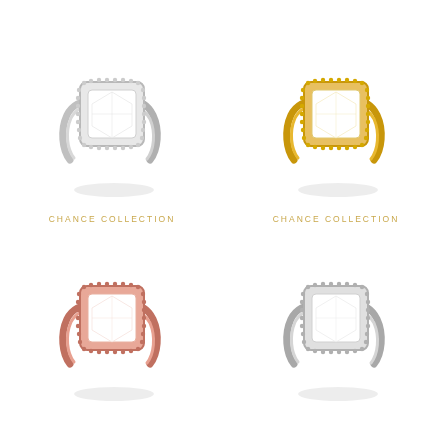[Figure (photo): Silver/white gold halo diamond ring with split band, square cushion center stone, top-left]
CHANCE COLLECTION
[Figure (photo): Yellow gold halo diamond ring with split band, square cushion center stone, top-right]
CHANCE COLLECTION
[Figure (photo): Rose gold halo diamond ring with split band, square cushion center stone, bottom-left]
[Figure (photo): White gold halo diamond ring with split band, square cushion center stone, bottom-right]